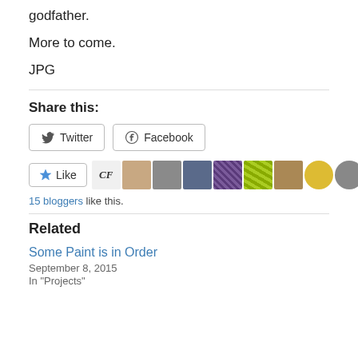godfather.
More to come.
JPG
Share this:
Twitter  Facebook
[Figure (other): Like button with star icon, followed by a series of blogger avatar thumbnails including text logo 'CF' and various profile/icon images]
15 bloggers like this.
Related
Some Paint is in Order
September 8, 2015
In "Projects"